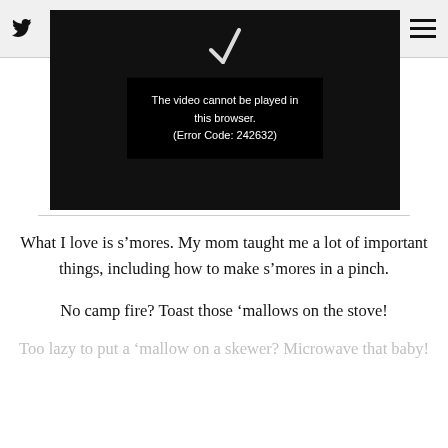Twitter Instagram Facebook Pinterest Search | Menu
[Figure (screenshot): Video player showing error message: The video cannot be played in this browser. (Error Code: 242632)]
What I love is s’mores. My mom taught me a lot of important things, including how to make s’mores in a pinch.
No camp fire? Toast those ‘mallows on the stove!
Too lazy to put a ‘mallow on a skewer? Microwave that baby!